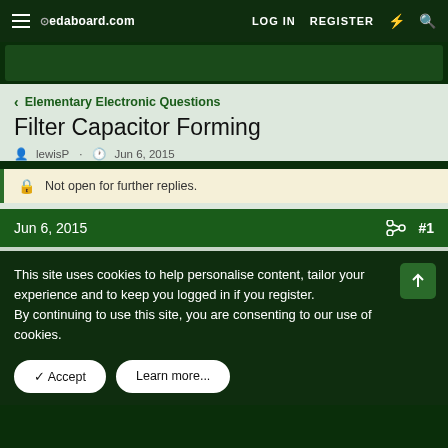edaboard.com | LOG IN | REGISTER
Elementary Electronic Questions
Filter Capacitor Forming
lewisP  Jun 6, 2015
Not open for further replies.
Jun 6, 2015  #1
This site uses cookies to help personalise content, tailor your experience and to keep you logged in if you register.
By continuing to use this site, you are consenting to our use of cookies.